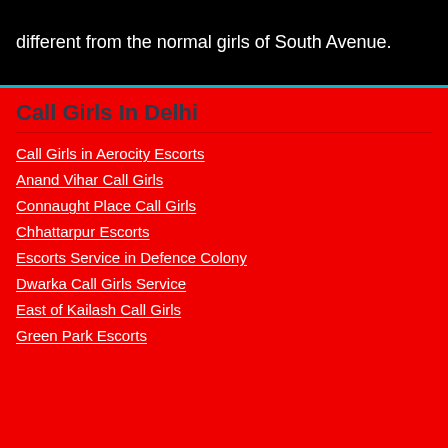different from the normal girls of South Avenue.
Call Girls In Delhi
Call Girls in Aerocity Escorts
Anand Vihar Call Girls
Connaught Place Call Girls
Chhattarpur Escorts
Escorts Service in Defence Colony
Dwarka Call Girls Service
East of Kailash Call Girls
Green Park Escorts